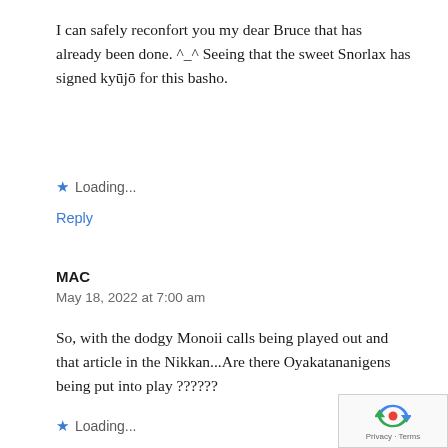I can safely reconfort you my dear Bruce that has already been done. ^_^ Seeing that the sweet Snorlax has signed kyūjō for this basho.
★ Loading...
Reply
MAC
May 18, 2022 at 7:00 am
So, with the dodgy Monoii calls being played out and that article in the Nikkan...Are there Oyakatananigens being put into play ??????
★ Loading...